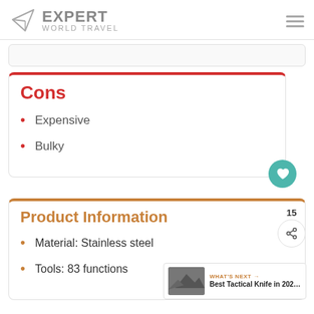EXPERT WORLD TRAVEL
Cons
Expensive
Bulky
Product Information
Material: Stainless steel
Tools: 83 functions